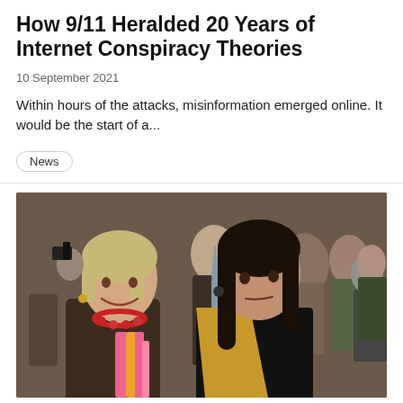How 9/11 Heralded 20 Years of Internet Conspiracy Theories
10 September 2021
Within hours of the attacks, misinformation emerged online. It would be the start of a...
News
[Figure (photo): Two women in a crowd. On the left, an older woman with blonde hair wearing a brown coat and red beaded necklace, smiling. On the right, a younger woman with long dark hair wearing black clothing and a mustard yellow scarf, looking serious. Multiple people visible in the background.]
Top Clinton Aide Huma Abedin Has Ties